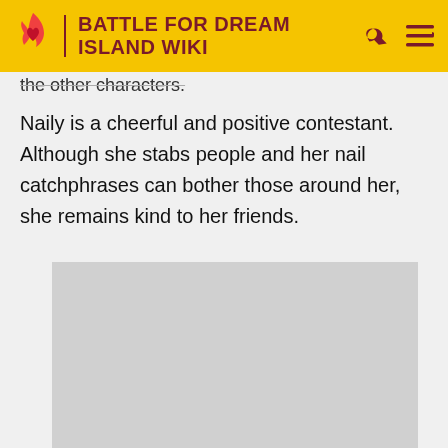BATTLE FOR DREAM ISLAND WIKI
the other characters.
Naily is a cheerful and positive contestant. Although she stabs people and her nail catchphrases can bother those around her, she remains kind to her friends.
[Figure (photo): Gray placeholder image rectangle]